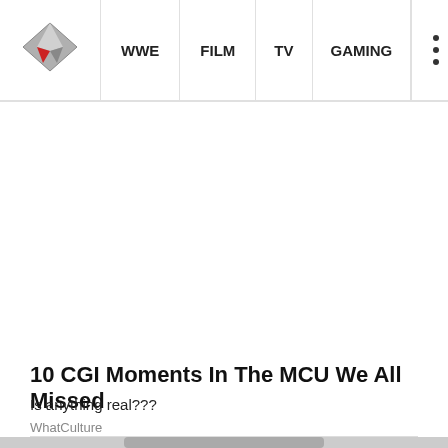WhatCulture — WWE | FILM | TV | GAMING
[Figure (other): Large white advertisement/blank space area below navigation bar]
10 CGI Moments In The MCU We All Missed
Is anything real???
WhatCulture
[Figure (photo): Partial image of a figure/character at the bottom of the page]